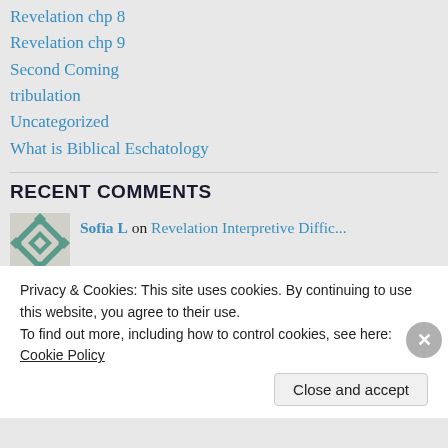Revelation chp 8
Revelation chp 9
Second Coming
tribulation
Uncategorized
What is Biblical Eschatology
RECENT COMMENTS
Sofia L on Revelation Interpretive Diffic...
Bruce Stadtler on The History of the Rapture
Biblical Guy on The History of the Rapture
Privacy & Cookies: This site uses cookies. By continuing to use this website, you agree to their use.
To find out more, including how to control cookies, see here: Cookie Policy
Close and accept